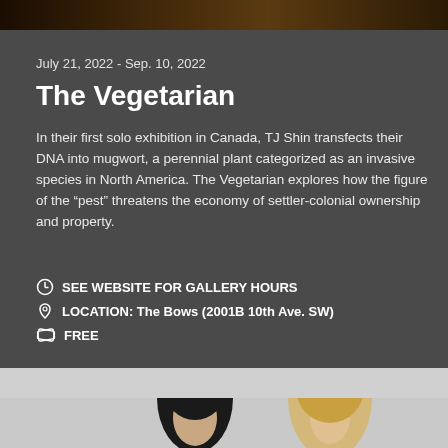[Figure (photo): Dark brownish/orange top image banner]
July 21, 2022 - Sep. 10, 2022
The Vegetarian
In their first solo exhibition in Canada, TJ Shin transfects their DNA into mugwort, a perennial plant categorized as an invasive species in North America. The Vegetarian explores how the figure of the “pest” threatens the economy of settler-colonial ownership and property.
SEE WEBSITE FOR GALLERY HOURS
LOCATION: The Bows (2001B 10th Ave. SW)
FREE
VISUAL ART
[Figure (photo): Two people shown from waist up on grey background — person with dark curly hair on left, person with long blonde hair on right]